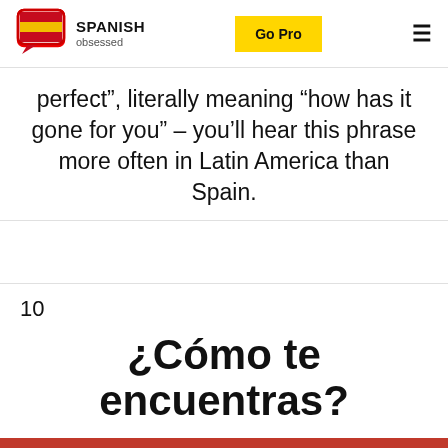SPANISH obsessed | Go Pro
perfect”, literally meaning “how has it gone for you” – you’ll hear this phrase more often in Latin America than Spain.
10
¿Cómo te encuentras?
How are you?